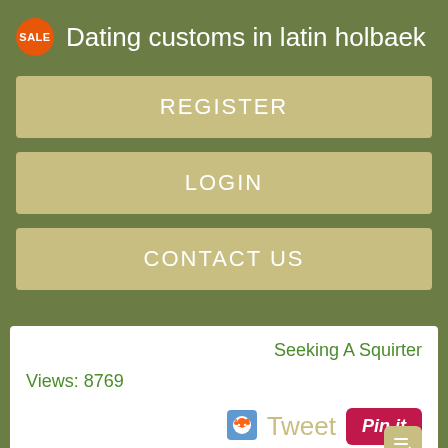Dating customs in latin holbaek
REGISTER
LOGIN
CONTACT US
Seeking A Squirter
Views: 8769
Tweet
[Figure (screenshot): Pin it button (Pinterest share button, red background)]
[Figure (screenshot): Reddit alien icon for sharing]
[Figure (screenshot): List/comment icon in khaki square]